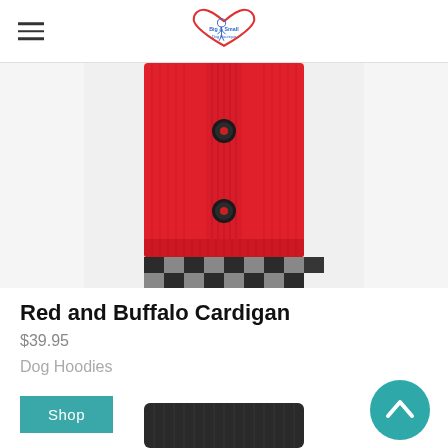Big & Small Dog Boutique
[Figure (photo): Close-up photo of a red knit cardigan dog sweater with black buttons and black and white buffalo check lining at the bottom hem]
Red and Buffalo Cardigan
$39.95
Dog Hoodies
[Figure (other): Teal circular scroll-to-top button with upward chevron arrow]
[Figure (other): Shop button — teal rectangle with white text 'Shop']
[Figure (photo): Partial view of a dark/black knit dog sweater at the bottom of the page]